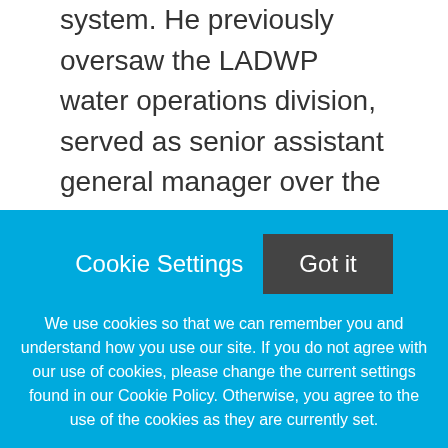system. He previously oversaw the LADWP water operations division, served as senior assistant general manager over the water system and most recently, LADWP's chief operating officer.
He now leads LADWP, the nation's largest publicly owned
Cookie Settings
Got it
We use cookies so that we can remember you and understand how you use our site. If you do not agree with our use of cookies, please change the current settings found in our Cookie Policy. Otherwise, you agree to the use of the cookies as they are currently set.